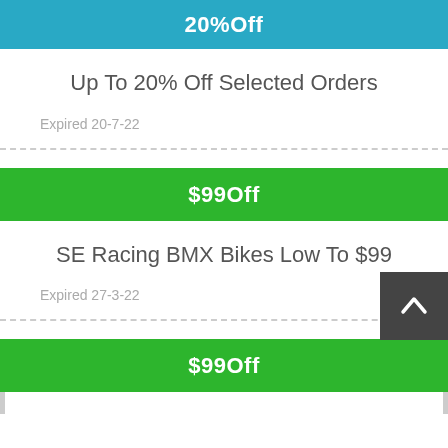20%Off
Up To 20% Off Selected Orders
Expired 20-7-22
$99Off
SE Racing BMX Bikes Low To $99
Expired 27-3-22
$99Off